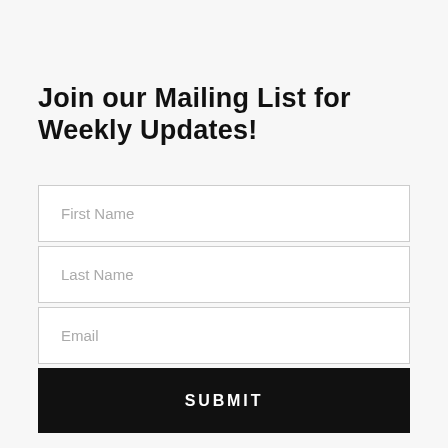Join our Mailing List for Weekly Updates!
First Name
Last Name
Email
SUBMIT